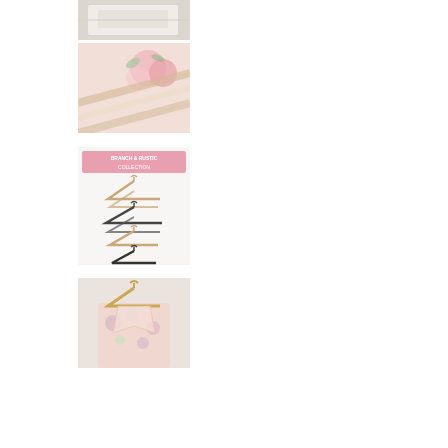[Figure (photo): Close-up of white fabric or clothing on a light background]
[Figure (photo): Pink floral arrangement with striped ribbons or fabric on a white background]
[Figure (photo): Product listing image showing multiple wooden and black clothes hangers stacked with a pink banner overlay reading text]
[Figure (photo): Close-up of a floral robe or garment on a gold/wooden hanger]